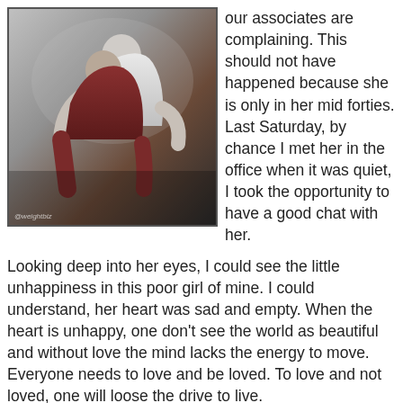[Figure (photo): A black and white photo of two people hugging, one wearing a white shirt and the other in darker clothing. A watermark '@weightbiz' appears at the bottom left.]
our associates are complaining. This should not have happened because she is only in her mid forties. Last Saturday, by chance I met her in the office when it was quiet, I took the opportunity to have a good chat with her.
Looking deep into her eyes, I could see the little unhappiness in this poor girl of mine. I could understand, her heart was sad and empty. When the heart is unhappy, one don't see the world as beautiful and without love the mind lacks the energy to move. Everyone needs to love and be loved. To love and not loved, one will loose the drive to live.
Fizah has been a very committed staff to us. We might not be in the office most of the time, but with one hand of hers, she could manage all our works as instructed. Answering all our clients telephone calls and gave the supportive replies as needed. I term all her effort and services rendered to us and our clients as love. She gave it whole heartily with passion and all my clients could feel the sincerity of her work.